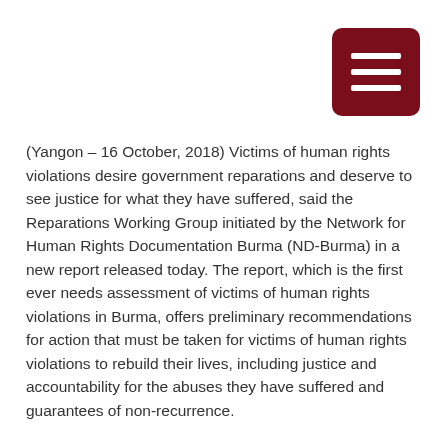[Figure (other): Dark red/maroon hamburger menu button icon with three horizontal white bars, positioned in top-right corner]
(Yangon – 16 October, 2018) Victims of human rights violations desire government reparations and deserve to see justice for what they have suffered, said the Reparations Working Group initiated by the Network for Human Rights Documentation Burma (ND-Burma) in a new report released today. The report, which is the first ever needs assessment of victims of human rights violations in Burma, offers preliminary recommendations for action that must be taken for victims of human rights violations to rebuild their lives, including justice and accountability for the abuses they have suffered and guarantees of non-recurrence.
The new report, You cannot ignore us: Victims of human rights violations from 1970 – 2017 outline their desires for justice, is based on interviews with 170 individuals in 11 states and